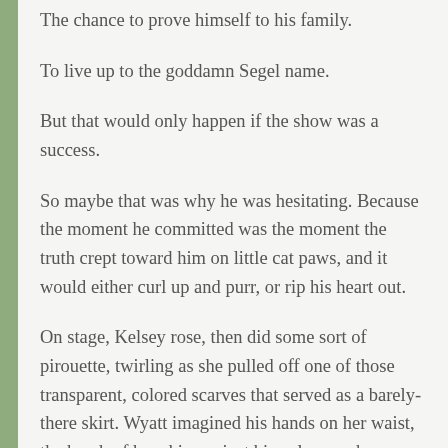The chance to prove himself to his family.
To live up to the goddamn Segel name.
But that would only happen if the show was a success.
So maybe that was why he was hesitating. Because the moment he committed was the moment the truth crept toward him on little cat paws, and it would either curl up and purr, or rip his heart out.
On stage, Kelsey rose, then did some sort of pirouette, twirling as she pulled off one of those transparent, colored scarves that served as a barely-there skirt. Wyatt imagined his hands on her waist, the brush of her skin against his palms as she spun. He could imagine her heat. The way she